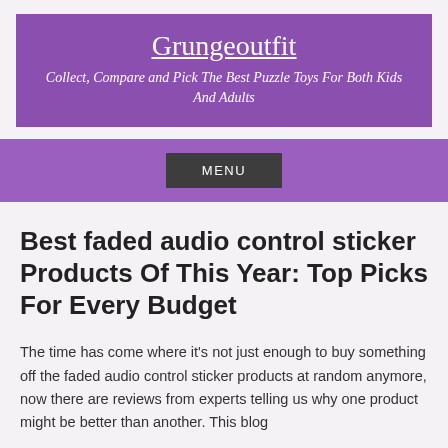Grungeoutfit
Collect, Compare and Pick The Best Puzzle Toys For Both Kids And Adults
MENU
Best faded audio control sticker Products Of This Year: Top Picks For Every Budget
The time has come where it's not just enough to buy something off the faded audio control sticker products at random anymore, now there are reviews from experts telling us why one product might be better than another. This blog